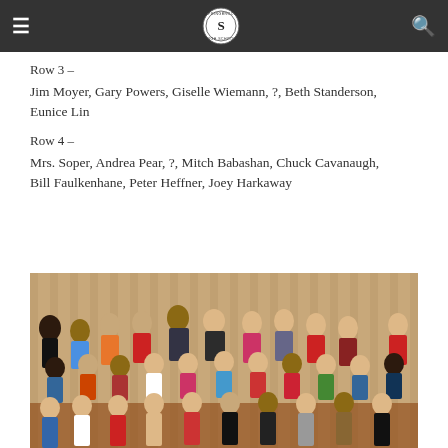Springbrook High School navigation bar
Row 3 –
Jim Moyer, Gary Powers, Giselle Wiemann, ?, Beth Standerson, Eunice Lin
Row 4 –
Mrs. Soper, Andrea Pear, ?, Mitch Babashan, Chuck Cavanaugh, Bill Faulkenhane, Peter Heffner, Joey Harkaway
[Figure (photo): Class photo showing rows of elementary school children and a teacher posed indoors against a striped curtain backdrop]